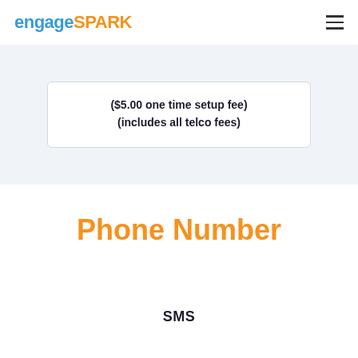engageSPARK
($5.00 one time setup fee)
(includes all telco fees)
Phone Number
SMS